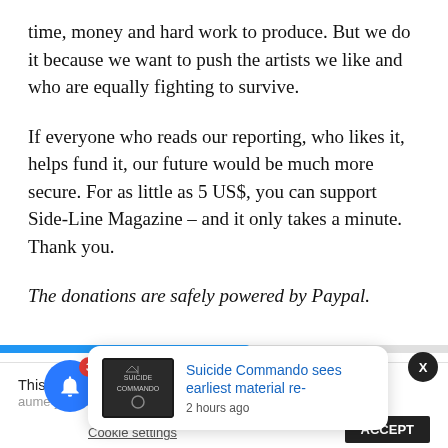time, money and hard work to produce. But we do it because we want to push the artists we like and who are equally fighting to survive.
If everyone who reads our reporting, who likes it, helps fund it, our future would be much more secure. For as little as 5 US$, you can support Side-Line Magazine – and it only takes a minute. Thank you.
The donations are safely powered by Paypal.
This website u... sume you're...
[Figure (screenshot): Notification popup showing: 'Suicide Commando sees earliest material re-' with timestamp '2 hours ago', alongside a thumbnail image of Suicide Commando album art. A blue notification bell button with red badge showing '3' is visible at bottom left. An X close button is at top right. A progress bar is shown. Cookie settings and ACCEPT button visible at bottom.]